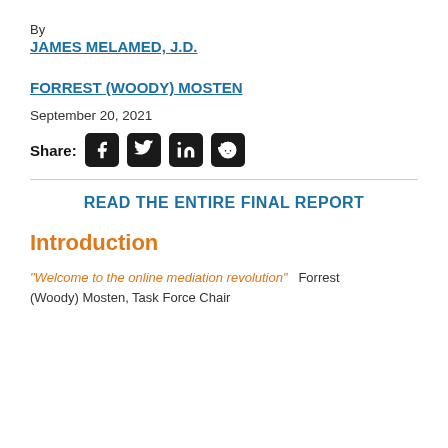By
JAMES MELAMED, J.D.
FORREST (WOODY) MOSTEN
September 20, 2021
Share:
READ THE ENTIRE FINAL REPORT
Introduction
“Welcome to the online mediation revolution”  Forrest (Woody) Mosten, Task Force Chair